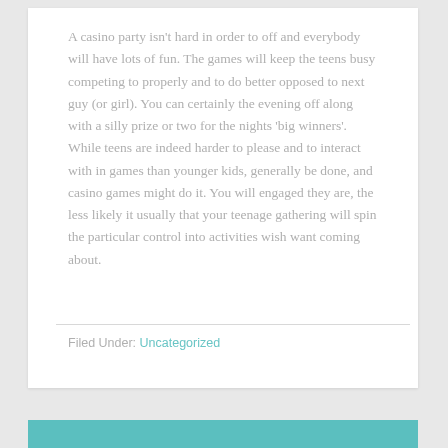A casino party isn't hard in order to off and everybody will have lots of fun. The games will keep the teens busy competing to properly and to do better opposed to next guy (or girl). You can certainly the evening off along with a silly prize or two for the nights 'big winners'. While teens are indeed harder to please and to interact with in games than younger kids, generally be done, and casino games might do it. You will engaged they are, the less likely it usually that your teenage gathering will spin the particular control into activities wish want coming about.
Filed Under: Uncategorized